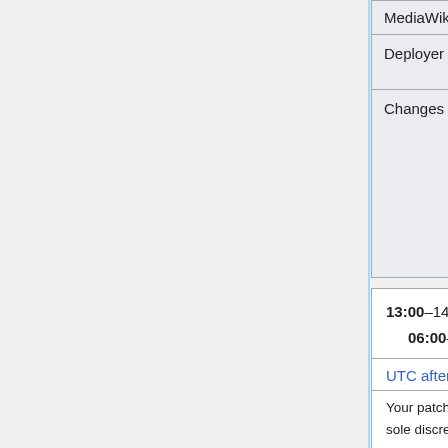|  | MediaWiki train - Utc-0+Utc-7 Version |
| --- | --- |
| Deployer | Antoine (hashar), Brennen (brennen) |
| Changes | 1.39 schedule
group0: 1.39.0-wmf.17
group1: 1.39.0-wmf.16->1.39.0-wmf.17
group2: 1.39.0-wmf.16
• group1 to 1.39.0-wmf.17
• Blockers: task T308070 |
13:00–14:00 UTC #
    06:00–07:00 PDT
UTC afternoon backport window
Your patch may or may not be deployed at the sole discretion of the deployer